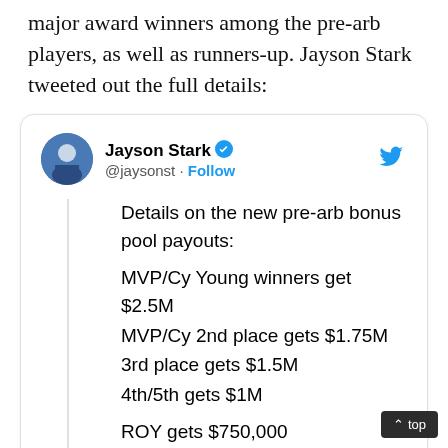major award winners among the pre-arb players, as well as runners-up. Jayson Stark tweeted out the full details:
[Figure (screenshot): Embedded tweet from @jaysonst (Jayson Stark, verified) with Twitter bird icon. Tweet text: Details on the new pre-arb bonus pool payouts: MVP/Cy Young winners get $2.5M, MVP/Cy 2nd place gets $1.75M, 3rd place gets $1.5M, 4th/5th gets $1M, ROY gets $750,000, ROY 2nd place gets $500]
^ top